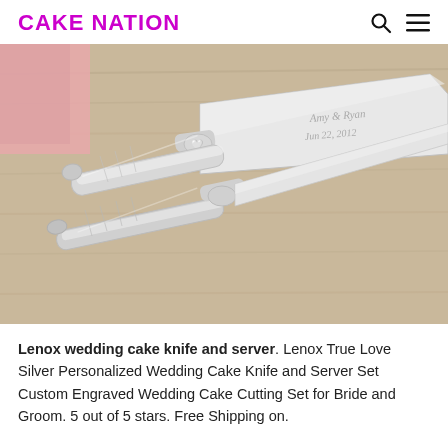CAKE NATION
[Figure (photo): Close-up photo of a silver Lenox wedding cake knife and server set on a wooden surface. The server blade is engraved with 'Amy & Ryan Jun 22, 2012'. The handles are silver with decorative twisted accents. A pink ribbon or fabric is visible in the top left corner.]
Lenox wedding cake knife and server. Lenox True Love Silver Personalized Wedding Cake Knife and Server Set Custom Engraved Wedding Cake Cutting Set for Bride and Groom. 5 out of 5 stars. Free Shipping on.